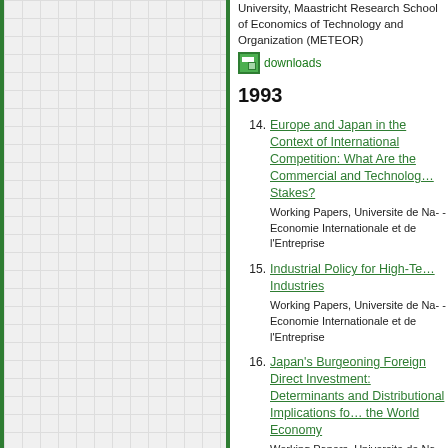University, Maastricht Research School of Economics of Technology and Organization (METEOR)
downloads
1993
14. Europe and Japan in the Context of International Competition: What Are the Commercial and Technology Stakes? Working Papers, Universite de Na- Economie Internationale et de l'Entreprise
15. Industrial Policy for High-Te- Industries Working Papers, Universite de Na- Economie Internationale et de l'Entreprise
16. Japan's Burgeoning Foreign Direct Investment: Determinants and Distributional Implications for the World Economy Working Papers, Universite de Na- Economie Internationale et de l'Entreprise